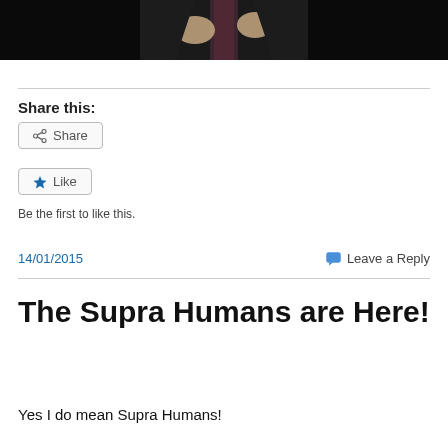[Figure (photo): Cropped photo of a person in a dark suit and patterned tie, only torso and hands visible, dark background]
Share this:
Share
Like
Be the first to like this.
14/01/2015
Leave a Reply
The Supra Humans are Here!
Yes I do mean Supra Humans!